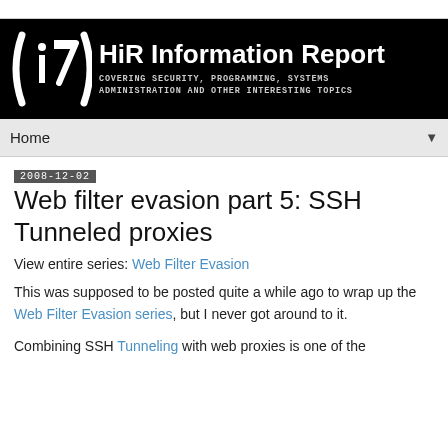[Figure (logo): HiR Information Report banner with stylized logo and text: COVERING SECURITY, PROGRAMMING, SYSTEMS ADMINISTRATION AND OTHER INTERESTING TOPICS]
Home ▼
2008-12-02
Web filter evasion part 5: SSH Tunneled proxies
View entire series: Web Filter Evasion
This was supposed to be posted quite a while ago to wrap up the Web Filter Evasion series, but I never got around to it.
Combining SSH Tunneling with web proxies is one of the